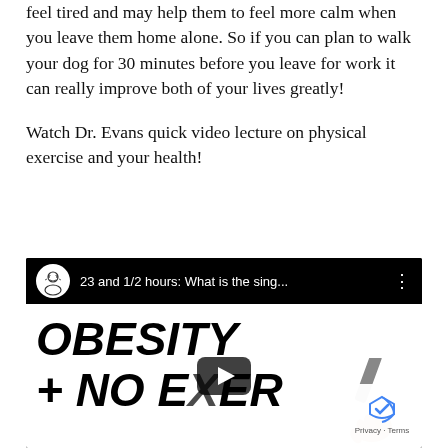feel tired and may help them to feel more calm when you leave them home alone. So if you can plan to walk your dog for 30 minutes before you leave for work it can really improve both of your lives greatly!
Watch Dr. Evans quick video lecture on physical exercise and your health!
[Figure (screenshot): Embedded YouTube video thumbnail showing a video titled '23 and 1/2 hours: What is the sing...' with a cartoon avatar icon of a person with glasses. The video content shows the words 'OBESITY + NO EXER...' written in large bold italic black text on white background, with a hand holding a marker. A play button is visible in the center. A privacy/terms badge is in the bottom right corner.]